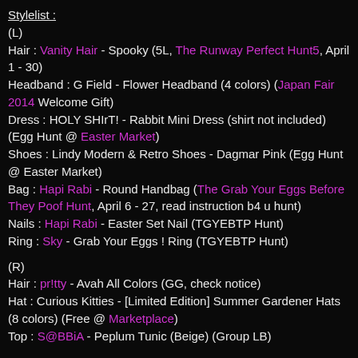Stylelist :
(L)
Hair : Vanity Hair - Spooky (5L, The Runway Perfect Hunt5, April 1 - 30)
Headband : G Field - Flower Headband (4 colors) (Japan Fair 2014 Welcome Gift)
Dress : HOLY SHIrT! - Rabbit Mini Dress (shirt not included) (Egg Hunt @ Easter Market)
Shoes : Lindy Modern & Retro Shoes - Dagmar Pink (Egg Hunt @ Easter Market)
Bag : Hapi Rabi - Round Handbag (The Grab Your Eggs Before They Poof Hunt, April 6 - 27, read instruction b4 u hunt)
Nails : Hapi Rabi - Easter Set Nail (TGYEBTP Hunt)
Ring : Sky - Grab Your Eggs ! Ring (TGYEBTP Hunt)
(R)
Hair : pr!tty - Avah All Colors (GG, check notice)
Hat : Curious Kitties - [Limited Edition] Summer Gardener Hats (8 colors) (Free @ Marketplace)
Top : S@BBiA - Peplum Tunic (Beige) (Group LB)